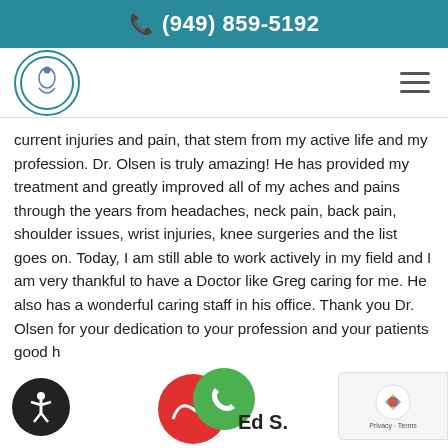📞 (949) 859-5192
[Figure (logo): Circular medical practice logo with teal border and figure illustration]
current injuries and pain, that stem from my active life and my profession. Dr. Olsen is truly amazing! He has provided my treatment and greatly improved all of my aches and pains through the years from headaches, neck pain, back pain, shoulder issues, wrist injuries, knee surgeries and the list goes on. Today, I am still able to work actively in my field and I am very thankful to have a Doctor like Greg caring for me. He also has a wonderful caring staff in his office. Thank you Dr. Olsen for your dedication to your profession and your patients good h...
Ed S.